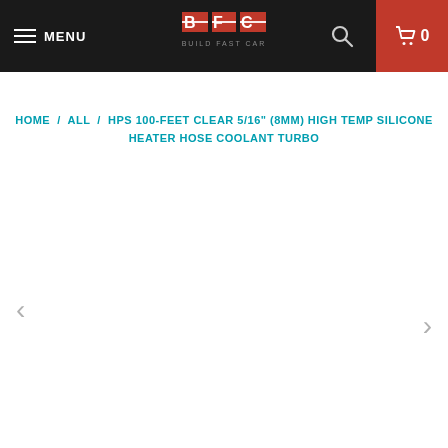MENU | BUILD FAST CAR logo | Search | Cart 0
HOME / ALL / HPS 100-FEET CLEAR 5/16" (8MM) HIGH TEMP SILICONE HEATER HOSE COOLANT TURBO